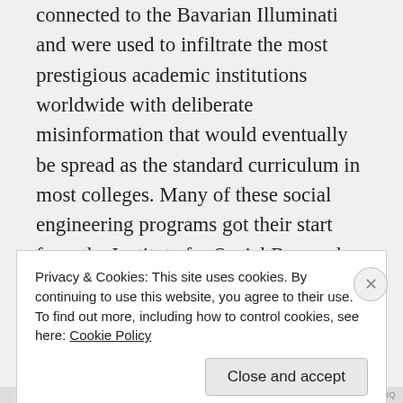connected to the Bavarian Illuminati and were used to infiltrate the most prestigious academic institutions worldwide with deliberate misinformation that would eventually be spread as the standard curriculum in most colleges. Many of these social engineering programs got their start from the Institute for Social Research, Frankfurt School, which was used by the Black Suns and practicing Satanists to
Privacy & Cookies: This site uses cookies. By continuing to use this website, you agree to their use.
To find out more, including how to control cookies, see here: Cookie Policy